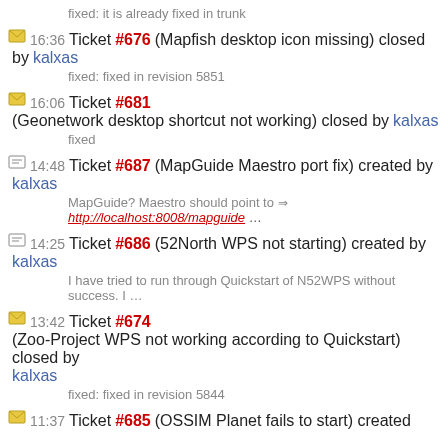fixed: it is already fixed in trunk
16:36 Ticket #676 (Mapfish desktop icon missing) closed by kalxas
fixed: fixed in revision 5851
16:06 Ticket #681 (Geonetwork desktop shortcut not working) closed by kalxas
fixed
14:48 Ticket #687 (MapGuide Maestro port fix) created by kalxas
MapGuide? Maestro should point to ⇒ http://localhost:8008/mapguide ...
14:25 Ticket #686 (52North WPS not starting) created by kalxas
I have tried to run through Quickstart of N52WPS without success. I ...
13:42 Ticket #674 (Zoo-Project WPS not working according to Quickstart) closed by kalxas
fixed: fixed in revision 5844
11:37 Ticket #685 (OSSIM Planet fails to start) created